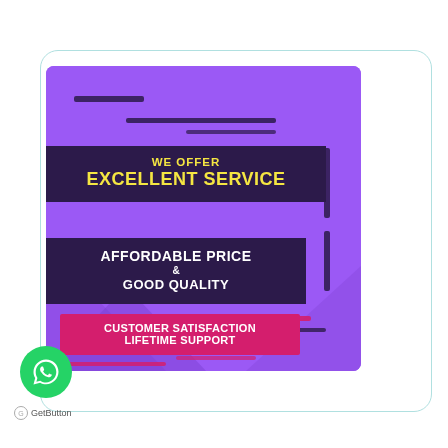[Figure (infographic): Purple background promotional ad image with text: 'WE OFFER EXCELLENT SERVICE', 'AFFORDABLE PRICE & GOOD QUALITY', 'CUSTOMER SATISFACTION LIFETIME SUPPORT'. Features decorative diagonal shapes, dark purple banners, and a pink/red banner. WhatsApp floating button and GetButton logo shown below.]